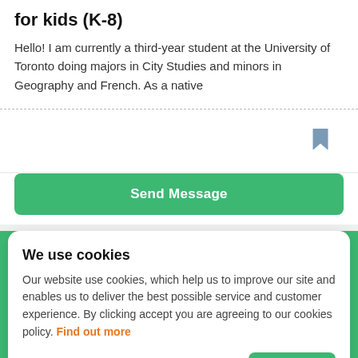for kids (K-8)
Hello! I am currently a third-year student at the University of Toronto doing majors in City Studies and minors in Geography and French. As a native
[Figure (other): Bookmark icon (grey)]
Send Message
We use cookies
Our website use cookies, which help us to improve our site and enables us to deliver the best possible service and customer experience. By clicking accept you are agreeing to our cookies policy. Find out more
Accept